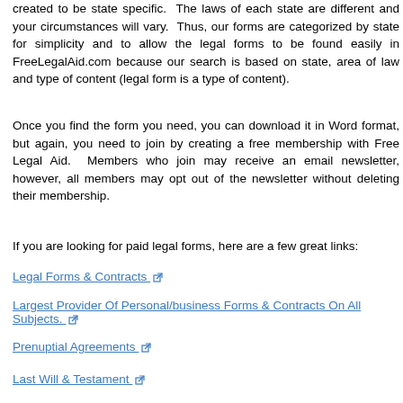created to be state specific. The laws of each state are different and your circumstances will vary. Thus, our forms are categorized by state for simplicity and to allow the legal forms to be found easily in FreeLegalAid.com because our search is based on state, area of law and type of content (legal form is a type of content).
Once you find the form you need, you can download it in Word format, but again, you need to join by creating a free membership with Free Legal Aid. Members who join may receive an email newsletter, however, all members may opt out of the newsletter without deleting their membership.
If you are looking for paid legal forms, here are a few great links:
Legal Forms & Contracts
Largest Provider Of Personal/business Forms & Contracts On All Subjects.
Prenuptial Agreements
Last Will & Testament